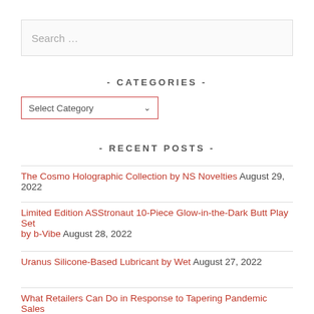Search …
- CATEGORIES -
Select Category
- RECENT POSTS -
The Cosmo Holographic Collection by NS Novelties August 29, 2022
Limited Edition ASStronaut 10-Piece Glow-in-the-Dark Butt Play Set by b-Vibe August 28, 2022
Uranus Silicone-Based Lubricant by Wet August 27, 2022
What Retailers Can Do in Response to Tapering Pandemic Sales